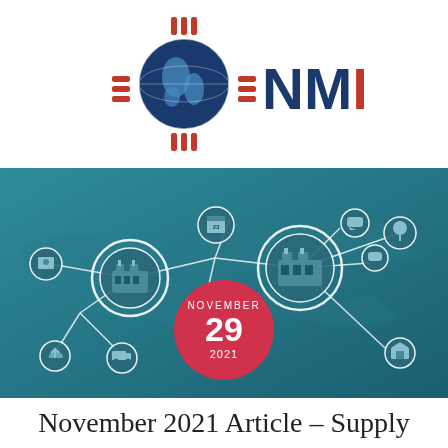[Figure (logo): NMIBA logo with Zia sun symbol containing globe and red stripes, with text NMIBA in dark blue and red]
[Figure (illustration): Supply chain network infographic on teal/blue background showing interconnected circular gear icons with factory, map, calendar, communication and logistics symbols, with a red circular date badge showing NOVEMBER 29 2021]
November 2021 Article – Supply